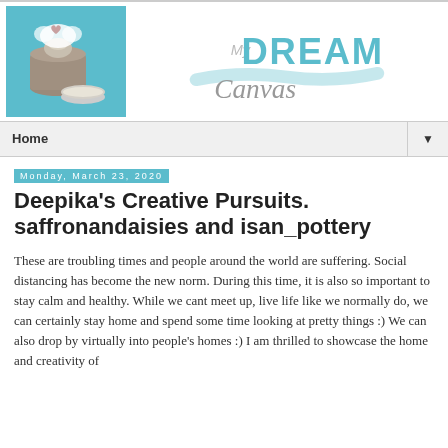[Figure (photo): Decorative crafts/pottery items on a teal background — a shell-like object with white fluffy material and a small heart, alongside a round glittery silver container]
[Figure (logo): My Dream Canvas logo — stylized text with 'My' in grey, 'DREAM' in teal, and 'Canvas' in grey cursive, with a teal brushstroke/wave underneath]
Home ▼
Monday, March 23, 2020
Deepika's Creative Pursuits. saffronandaisies and isan_pottery
These are troubling times and people around the world are suffering. Social distancing has become the new norm. During this time, it is also so important to stay calm and healthy. While we cant meet up, live life like we normally do, we can certainly stay home and spend some time looking at pretty things :) We can also drop by virtually into people's homes :) I am thrilled to showcase the home and creativity of